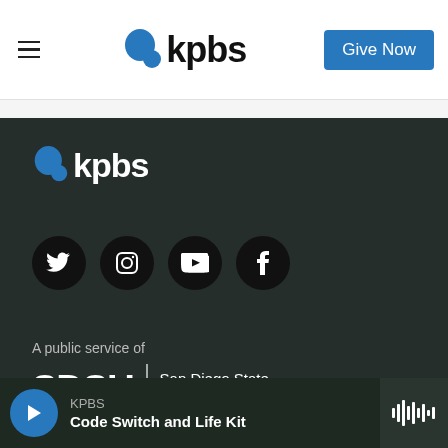[Figure (logo): KPBS logo with blue speech bubble dot and bold kpbs text, with hamburger menu icon on left and Give Now blue button on right]
[Figure (logo): KPBS logo in white/blue on dark background in footer section]
[Figure (infographic): Four social media icon circles (Twitter, Instagram, YouTube, Facebook) in black circles on dark background]
A public service of
[Figure (logo): SDSU | San Diego State University logo in white text on dark background]
KPBS
Code Switch and Life Kit